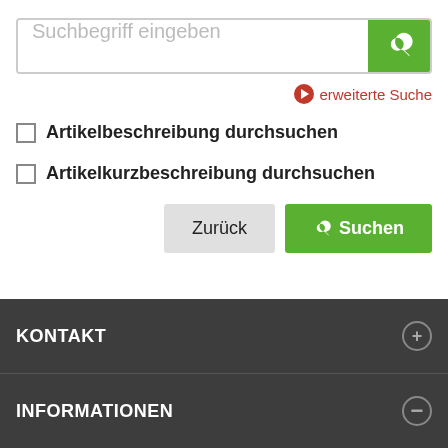[Figure (screenshot): Search input field with placeholder text 'Suchbegriff eingeben' and a green search button with magnifying glass icon]
erweiterte Suche
Artikelbeschreibung durchsuchen
Artikelkurzbeschreibung durchsuchen
Zurück  Suchen
KONTAKT
INFORMATIONEN